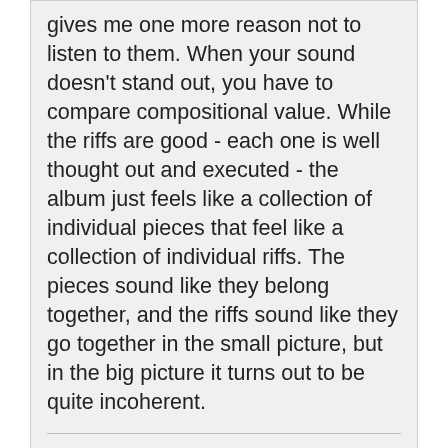gives me one more reason not to listen to them. When your sound doesn't stand out, you have to compare compositional value. While the riffs are good - each one is well thought out and executed - the album just feels like a collection of individual pieces that feel like a collection of individual riffs. The pieces sound like they belong together, and the riffs sound like they go together in the small picture, but in the big picture it turns out to be quite incoherent.
0 social review comments NEW! | Review Permalink | Posted Friday, March 28, 2008 | Review this album | Report (Review #165251)
Review by tszirmay SPECIAL COLLABORATOR Honorary Collaborator
[Figure (other): Album thumbnail (black image) and star rating (3.5 out of 5 stars) next to Wobbler text]